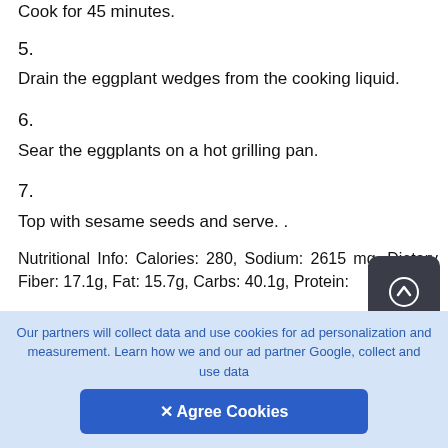Cook for 45 minutes.
5.
Drain the eggplant wedges from the cooking liquid.
6.
Sear the eggplants on a hot grilling pan.
7.
Top with sesame seeds and serve. .
Nutritional Info: Calories: 280, Sodium: 2615 mg, Dietary Fiber: 17.1g, Fat: 15.7g, Carbs: 40.1g, Protein:
Our partners will collect data and use cookies for ad personalization and measurement. Learn how we and our ad partner Google, collect and use data
✕ Agree Cookies